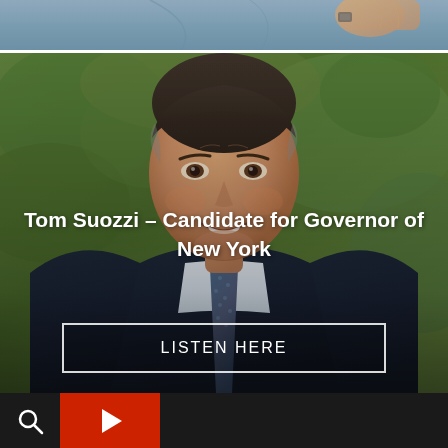[Figure (photo): Partial photo of a person in a suit at the top of the page, cropped strip]
[Figure (photo): Tom Suozzi, candidate for Governor of New York, smiling man in navy suit and blue tie, outdoor background with green foliage]
Tom Suozzi – Candidate for Governor of New York
LISTEN HERE